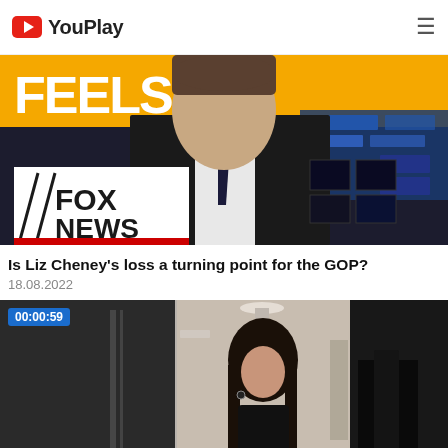YouPlay
[Figure (screenshot): Fox News channel thumbnail showing anchor at desk with Fox News logo and 'FEELS!' text visible]
Is Liz Cheney's loss a turning point for the GOP?
18.08.2022
[Figure (screenshot): Video thumbnail showing a young woman with dark hair in a corridor setting, timestamp 00:00:59]